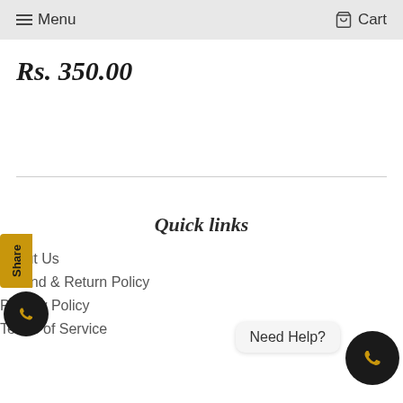Menu  Cart
Rs. 350.00
Share
Quick links
About Us
Refund & Return Policy
Privacy Policy
Terms of Service
Need Help?